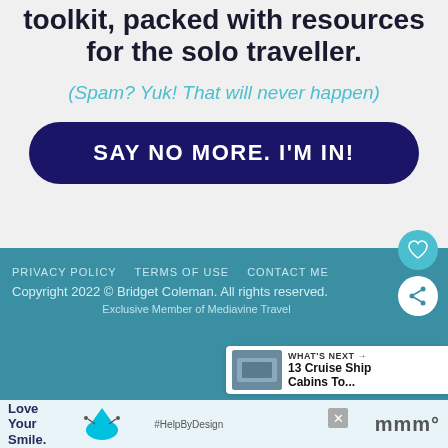toolkit, packed with resources for the solo traveller.
(Spam? Yuk! That will never happen)
SAY NO MORE. I'M IN!
PRIVACY POLICY   TERMS OF USE   CONTACT ME
Copyright 2022 © Bridget Coleman. All rights reserved.
Exclusive Member of Mediavine Travel
[Figure (other): What's Next panel showing 13 Cruise Ship Cabins To...]
[Figure (other): Advertisement banner: Love Your Smile. #HelpByDesign with dental product imagery.]